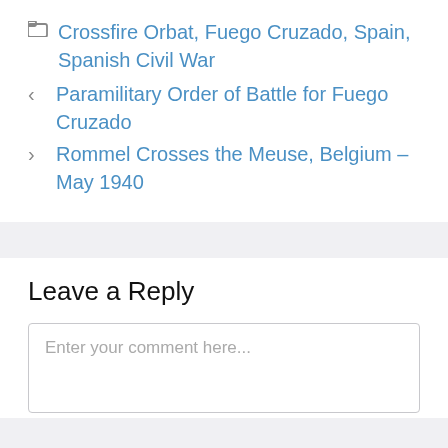Crossfire Orbat, Fuego Cruzado, Spain, Spanish Civil War
< Paramilitary Order of Battle for Fuego Cruzado
> Rommel Crosses the Meuse, Belgium – May 1940
Leave a Reply
Enter your comment here...